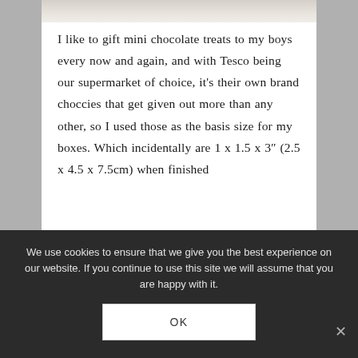[Figure (photo): Top portion of a photo showing a light-colored object against a white background, cropped at the top of the content area]
I like to gift mini chocolate treats to my boys every now and again, and with Tesco being our supermarket of choice, it's their own brand choccies that get given out more than any other, so I used those as the basis size for my boxes. Which incidentally are 1 x 1.5 x 3″ (2.5 x 4.5 x 7.5cm) when finished
We use cookies to ensure that we give you the best experience on our website. If you continue to use this site we will assume that you are happy with it.
OK